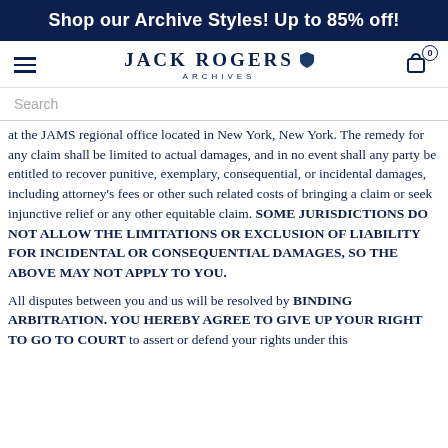Shop our Archive Styles! Up to 85% off!
[Figure (logo): Jack Rogers Archives logo with shield icon and hamburger menu and cart icon with badge '0']
Search
at the JAMS regional office located in New York, New York. The remedy for any claim shall be limited to actual damages, and in no event shall any party be entitled to recover punitive, exemplary, consequential, or incidental damages, including attorney’s fees or other such related costs of bringing a claim or seek injunctive relief or any other equitable claim. SOME JURISDICTIONS DO NOT ALLOW THE LIMITATIONS OR EXCLUSION OF LIABILITY FOR INCIDENTAL OR CONSEQUENTIAL DAMAGES, SO THE ABOVE MAY NOT APPLY TO YOU.
All disputes between you and us will be resolved by BINDING ARBITRATION. YOU HEREBY AGREE TO GIVE UP YOUR RIGHT TO GO TO COURT to assert or defend your rights under this